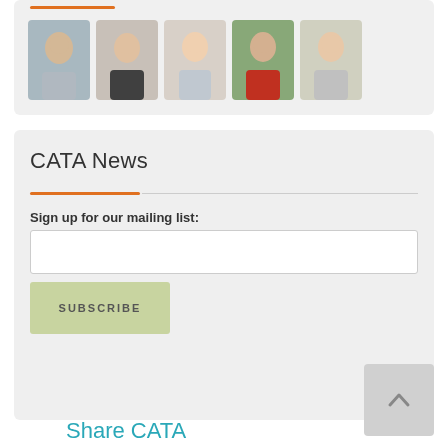[Figure (photo): Five circular/square thumbnail photos of people]
CATA News
Sign up for our mailing list:
SUBSCRIBE
Share CATA